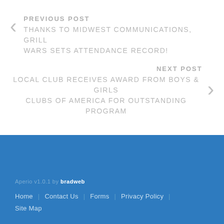PREVIOUS POST
THANKS TO MIDWEST COMMUNICATIONS, GRILL WARS SETS ATTENDANCE RECORD!
NEXT POST
LOCAL CLUB RECEIVES AWARD FROM BOYS & GIRLS CLUBS OF AMERICA FOR OUTSTANDING PROGRAM
Aperio v1.0.1 by bradweb
Home | Contact Us | Forms | Privacy Policy |
Site Map